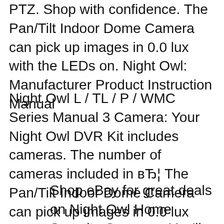PTZ. Shop with confidence. The Pan/Tilt Indoor Dome Camera can pick up images in 0.0 lux with the LEDs on. Night Owl: Manufacturer Product Instruction Manual
Night Owl L / TL / P / WMC Series Manual 3 Camera: Your Night Owl DVR Kit includes cameras. The number of cameras included in вЂ¦ The Pan/Tilt Indoor Dome Camera can pick up images in 0.0 lux with the LEDs on. Night Owl: Manufacturer Product Instruction Manual
Shop eBay for great deals on Night Owl Home Security Cameras. You'll find new or